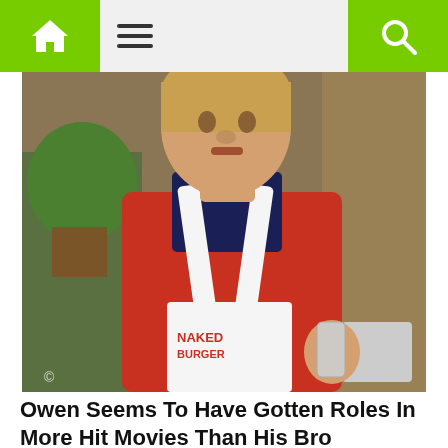Navigation bar with home, menu, and search icons
[Figure (photo): Man wearing a red shirt and white apron, holding a glass, standing in a kitchen with green plants in the background]
Owen Seems To Have Gotten Roles In More Hit Movies Than His Bro
Brainberries
[Figure (photo): Two side-by-side thumbnail images: left shows a teal/green background with partial figure, right shows red lockers with partial figure]
This website uses cookies to improve your user experience and to provide you with advertisements that are relevant to your interests. By continuing to browse the site you are agreeing to our use of cookies.